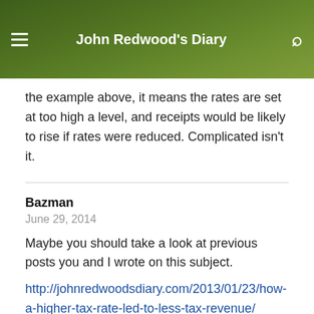John Redwood's Diary
the example above, it means the rates are set at too high a level, and receipts would be likely to rise if rates were reduced. Complicated isn't it.
Bazman
June 29, 2014
Maybe you should take a look at previous posts you and I wrote on this subject.
http://johnredwoodsdiary.com/2013/01/23/how-a-higher-tax-rate-led-to-less-tax-revenue/
Have you anything new to add? Thought not